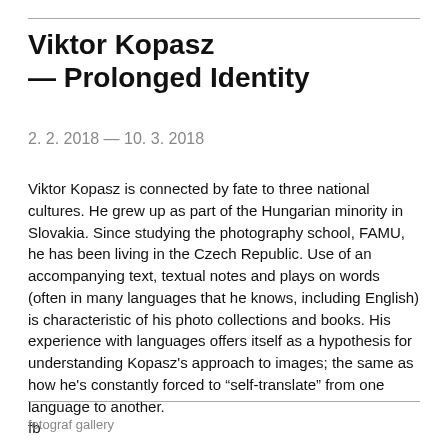Viktor Kopasz — Prolonged Identity
2. 2. 2018 — 10. 3. 2018
Viktor Kopasz is connected by fate to three national cultures. He grew up as part of the Hungarian minority in Slovakia. Since studying the photography school, FAMU, he has been living in the Czech Republic. Use of an accompanying text, textual notes and plays on words (often in many languages that he knows, including English) is characteristic of his photo collections and books. His experience with languages offers itself as a hypothesis for understanding Kopasz's approach to images; the same as how he's constantly forced to “self-translate” from one language to another.
fb
fotograf gallery